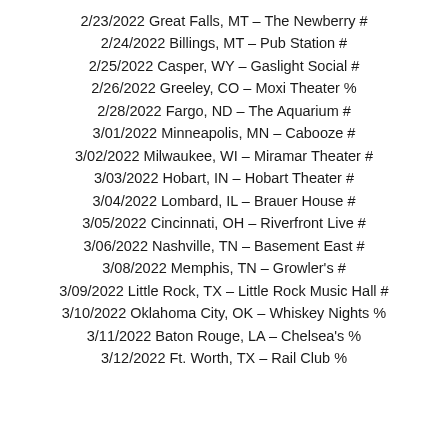2/23/2022 Great Falls, MT – The Newberry #
2/24/2022 Billings, MT – Pub Station #
2/25/2022 Casper, WY – Gaslight Social #
2/26/2022 Greeley, CO – Moxi Theater %
2/28/2022 Fargo, ND – The Aquarium #
3/01/2022 Minneapolis, MN – Cabooze #
3/02/2022 Milwaukee, WI – Miramar Theater #
3/03/2022 Hobart, IN – Hobart Theater #
3/04/2022 Lombard, IL – Brauer House #
3/05/2022 Cincinnati, OH – Riverfront Live #
3/06/2022 Nashville, TN – Basement East #
3/08/2022 Memphis, TN – Growler's #
3/09/2022 Little Rock, TX – Little Rock Music Hall #
3/10/2022 Oklahoma City, OK – Whiskey Nights %
3/11/2022 Baton Rouge, LA – Chelsea's %
3/12/2022 Ft. Worth, TX – Rail Club %